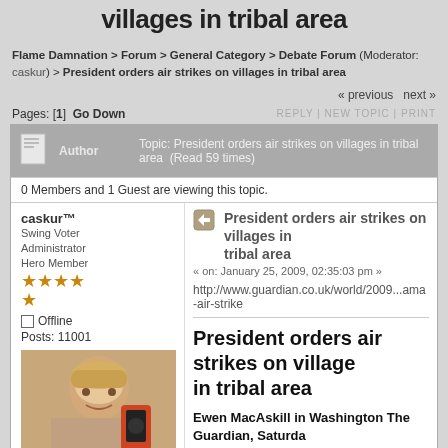villages in tribal area
Flame Damnation > Forum > General Category > Debate Forum (Moderator: caskur) > President orders air strikes on villages in tribal area
« previous next »
Pages: [1]  Go Down    REPLY | NEW TOPIC | PRINT
Author  Topic: President orders air strikes on villages in tribal area  (Read 59 times)
0 Members and 1 Guest are viewing this topic.
caskur™
Swing Voter
Administrator
Hero Member
Offline
Posts: 11001
President orders air strikes on villages in tribal area
« on: January 25, 2009, 02:35:03 pm »
http://www.guardian.co.uk/world/2009...ama-air-strike
President orders air strikes on villages in tribal area
Ewen MacAskill in Washington The Guardian, Saturday 24 January 2009
Barack Obama gave the go-ahead for his first military action yesterday, missile strikes against suspected militants in Pakistan which killed at least 18 people.